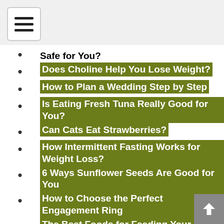Safe for You?
Does Choline Help You Lose Weight?
How to Plan a Wedding Step by Step
Is Eating Fresh Tuna Really Good for You?
Can Cats Eat Strawberries?
How Intermittent Fasting Works for Weight Loss?
6 Ways Sunflower Seeds Are Good for You
How to Choose the Perfect Engagement Ring
The Best Foods for Feeding Your Brain to Pass the Exams
What Is Fasted Cardio in The Morning and Its Benefits?
Fun Ideas for 'Something Blue, Something Old and...
CoQ10 Benefits and Side Effects